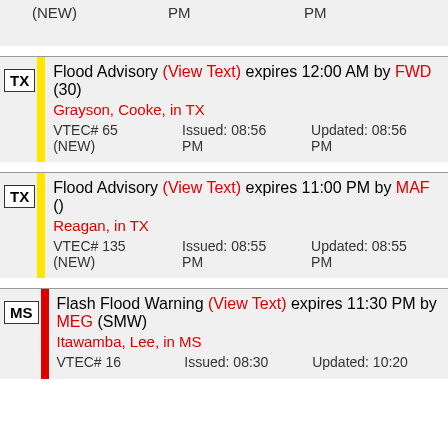| State | Alert | Issued | Updated |
| --- | --- | --- | --- |
| (NEW) | PM | PM |
| TX | Flood Advisory (View Text) expires 12:00 AM by FWD (30) Grayson, Cooke, in TX VTEC# 65 (NEW) Issued: 08:56 PM Updated: 08:56 PM |  |  |
| TX | Flood Advisory (View Text) expires 11:00 PM by MAF () Reagan, in TX VTEC# 135 (NEW) Issued: 08:55 PM Updated: 08:55 PM |  |  |
| MS | Flash Flood Warning (View Text) expires 11:30 PM by MEG (SMW) Itawamba, Lee, in MS VTEC# 16 Issued: 08:30 Updated: 10:20 |  |  |